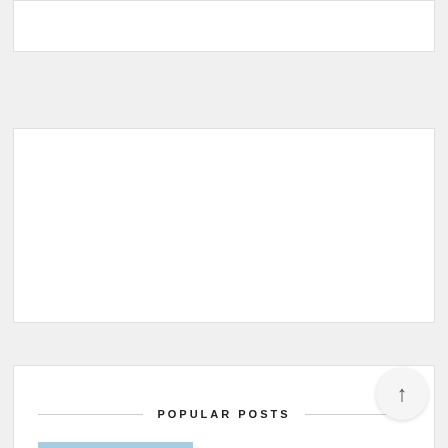[Figure (other): Top white card, partially visible, cut off at top of page]
[Figure (other): Middle white card, empty content area]
POPULAR POSTS
[Figure (photo): Thumbnail photo of DIY Kraft Christmas cards and envelopes - brown kraft paper envelopes with bow and red heart decoration]
Sweet Tidings 8th Day of Christmas: DIY Kraft Christmas Cards and Envelopes
[Figure (photo): Thumbnail photo of Japanese felt patterns book cover with pink background and Japanese text マスコット人形＆小物]
Japanese felt patterns for you